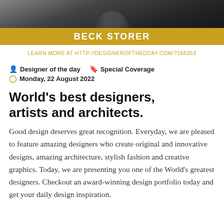[Figure (photo): Dark grayscale photo of a person, cropped at top, with a gold banner at the bottom reading BECK STORER]
LEARN MORE AT HTTP://DESIGNEROFTHEDDAY.COM/?166353
Designer of the day   Special Coverage   Monday, 22 August 2022
World's best designers, artists and architects.
Good design deserves great recognition. Everyday, we are pleased to feature amazing designers who create original and innovative designs, amazing architecture, stylish fashion and creative graphics. Today, we are presenting you one of the World's greatest designers. Checkout an award-winning design portfolio today and get your daily design inspiration.